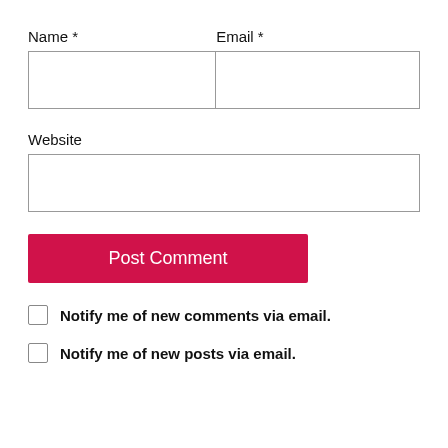Name *
Email *
[Figure (other): Two-column input field box for Name and Email]
Website
[Figure (other): Single full-width input field box for Website]
Post Comment
Notify me of new comments via email.
Notify me of new posts via email.